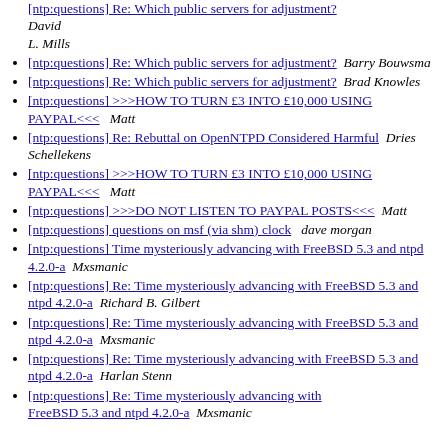[ntp:questions] Re: Which public servers for adjustment?  Barry Bouwsma
[ntp:questions] Re: Which public servers for adjustment?  Brad Knowles
[ntp:questions] >>>HOW TO TURN £3 INTO £10,000 USING PAYPAL<<<  Matt
[ntp:questions] Re: Rebuttal on OpenNTPD Considered Harmful  Dries Schellekens
[ntp:questions] >>>HOW TO TURN £3 INTO £10,000 USING PAYPAL<<<  Matt
[ntp:questions] >>>DO NOT LISTEN TO PAYPAL POSTS<<<  Matt
[ntp:questions] questions on msf (via shm) clock  dave morgan
[ntp:questions] Time mysteriously advancing with FreeBSD 5.3 and ntpd 4.2.0-a  Mxsmanic
[ntp:questions] Re: Time mysteriously advancing with FreeBSD 5.3 and ntpd 4.2.0-a  Richard B. Gilbert
[ntp:questions] Re: Time mysteriously advancing with FreeBSD 5.3 and ntpd 4.2.0-a  Mxsmanic
[ntp:questions] Re: Time mysteriously advancing with FreeBSD 5.3 and ntpd 4.2.0-a  Harlan Stenn
[ntp:questions] Re: Time mysteriously advancing with FreeBSD 5.3 and ntpd 4.2.0-a  Mxsmanic